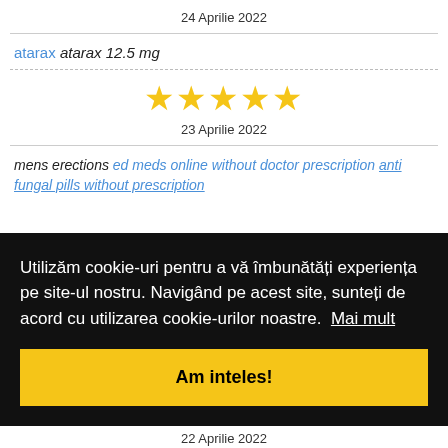24 Aprilie 2022
atarax atarax 12.5 mg
[Figure (other): 5 yellow stars rating]
23 Aprilie 2022
mens erections ed meds online without doctor prescription anti fungal pills without prescription
Utilizăm cookie-uri pentru a vă îmbunătăți experiența pe site-ul nostru. Navigând pe acest site, sunteți de acord cu utilizarea cookie-urilor noastre. Mai mult
Am inteles!
22 Aprilie 2022